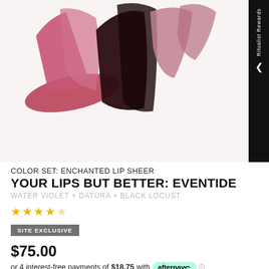[Figure (photo): Product page showing lip color swatches (pink, dark brown, mauve) on left and a model wearing lip product on right, with navigation arrow and Ritualist Rewards side panel]
COLOR SET: ENCHANTED LIP SHEER
YOUR LIPS BUT BETTER: EVENTIDE
WATER VIOLET + DATURA + BLACK LOCUST
Star rating: 0 out of 5 stars
SITE EXCLUSIVE
$75.00
or 4 interest-free payments of $18.75 with afterpay
Quantity
- 1 +